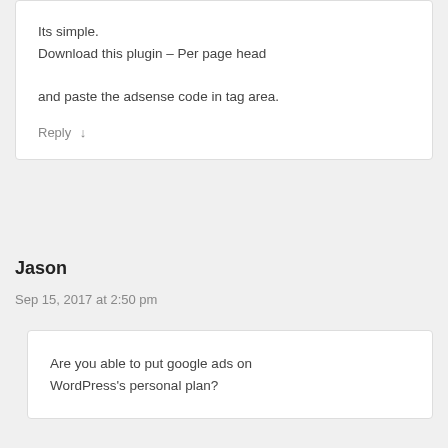Its simple.
Download this plugin – Per page head

and paste the adsense code in tag area.
Reply
Jason
Sep 15, 2017 at 2:50 pm
Are you able to put google ads on WordPress's personal plan?